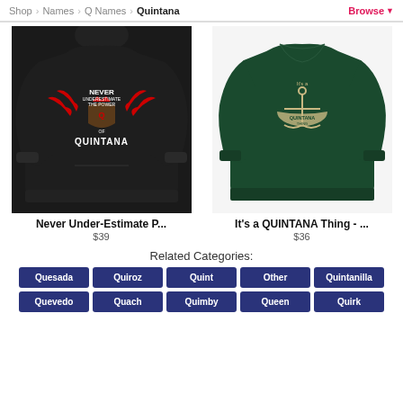Shop > Names > Q Names > Quintana   Browse
[Figure (photo): Black hoodie with 'Never Underestimate The Power of Quintana' graphic with red wings and shield]
[Figure (photo): Dark green crewneck sweatshirt with 'It's a QUINTANA Thing' anchor graphic]
Never Under-Estimate P...
$39
It's a QUINTANA Thing - ...
$36
Related Categories:
Quesada
Quiroz
Quint
Other
Quintanilla
Quevedo
Quach
Quimby
Queen
Quirk